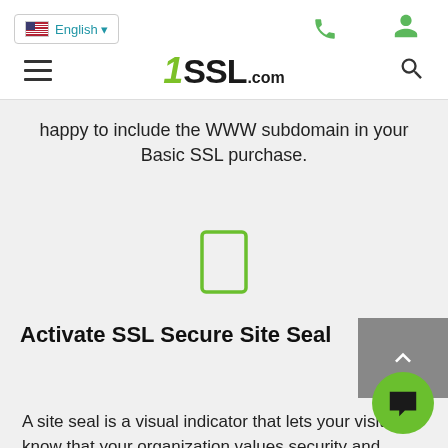English · [phone icon] [person icon] [hamburger menu] SSL.com [search icon]
happy to include the WWW subdomain in your Basic SSL purchase.
[Figure (illustration): Green outlined rectangle/shield icon]
Activate SSL Secure Site Seal
A site seal is a visual indicator that lets your visitors know that your organization values security and privacy. The SSL.com Smart Se... complementary service that establishes trust by